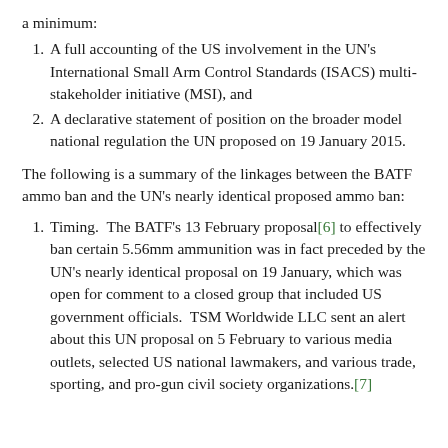a minimum:
A full accounting of the US involvement in the UN's International Small Arm Control Standards (ISACS) multi-stakeholder initiative (MSI), and
A declarative statement of position on the broader model national regulation the UN proposed on 19 January 2015.
The following is a summary of the linkages between the BATF ammo ban and the UN's nearly identical proposed ammo ban:
Timing.  The BATF's 13 February proposal[6] to effectively ban certain 5.56mm ammunition was in fact preceded by the UN's nearly identical proposal on 19 January, which was open for comment to a closed group that included US government officials.  TSM Worldwide LLC sent an alert about this UN proposal on 5 February to various media outlets, selected US national lawmakers, and various trade, sporting, and pro-gun civil society organizations.[7]